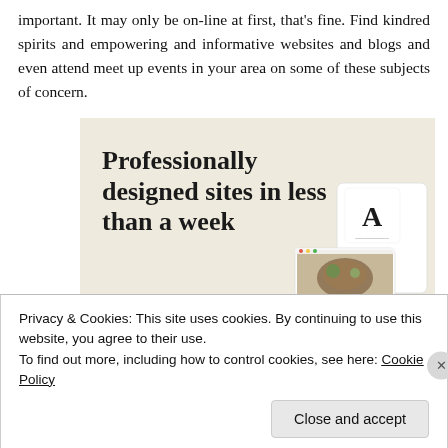important. It may only be on-line at first, that's fine. Find kindred spirits and empowering and informative websites and blogs and even attend meet up events in your area on some of these subjects of concern.
[Figure (screenshot): Advertisement banner with beige background. Large serif text reads 'Professionally designed sites in less than a week'. A green button says 'Explore options'. On the right side are mockup screenshots of a website with food images and a logo 'A'.]
Privacy & Cookies: This site uses cookies. By continuing to use this website, you agree to their use.
To find out more, including how to control cookies, see here: Cookie Policy